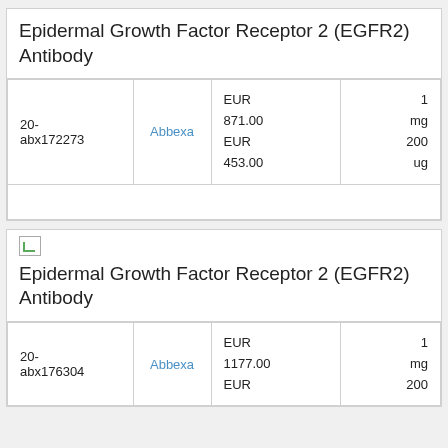Epidermal Growth Factor Receptor 2 (EGFR2) Antibody
|  | Supplier | Price | Quantity |
| --- | --- | --- | --- |
| 20-abx172273 | Abbexa | EUR 871.00 EUR 453.00 | 1 mg 200 ug |
[Figure (photo): Small broken image placeholder icon]
Epidermal Growth Factor Receptor 2 (EGFR2) Antibody
|  | Supplier | Price | Quantity |
| --- | --- | --- | --- |
| 20-abx176304 | Abbexa | EUR 1177.00 EUR | 1 mg 200 |